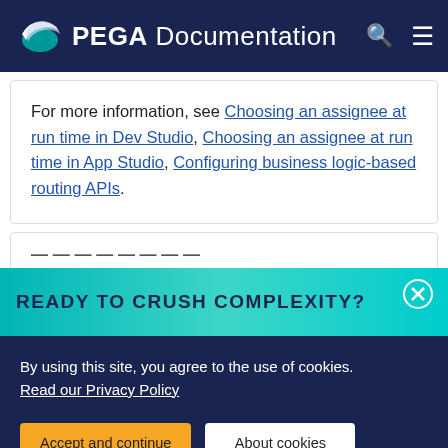PEGA Documentation
For more information, see Choosing an assignee at run time in Dev Studio, Choosing an assignee at run time in App Studio, Configuring business logic-based routing APIs.
READY TO CRUSH COMPLEXITY?
By using this site, you agree to the use of cookies. Read our Privacy Policy
Accept and continue | About cookies